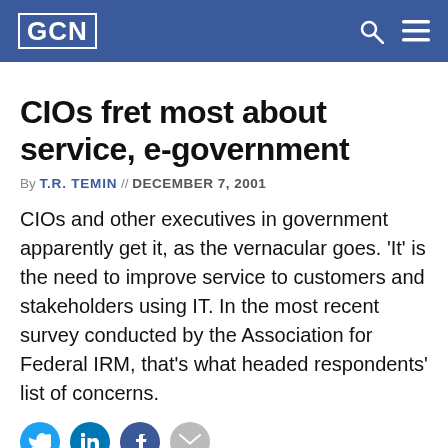GCN
CIOs fret most about service, e-government
By T.R. TEMIN // DECEMBER 7, 2001
CIOs and other executives in government apparently get it, as the vernacular goes. 'It' is the need to improve service to customers and stakeholders using IT. In the most recent survey conducted by the Association for Federal IRM, that's what headed respondents' list of concerns.
[Figure (other): Social media sharing icons: Twitter, LinkedIn, Facebook, Email]
CIOs and other executives in government apparently get it, as the vernacular goes. 'It' is the